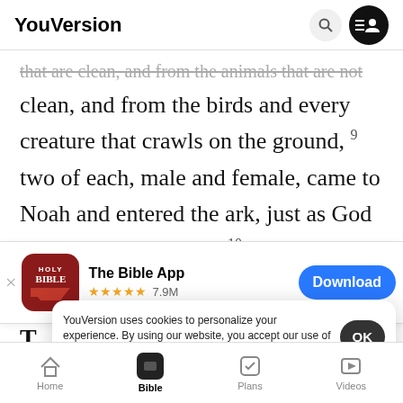YouVersion
that are clean, and from the animals that are not clean, and from the birds and every creature that crawls on the ground, 9 two of each, male and female, came to Noah and entered the ark, just as God had commanded him. 10 Seven days later the
[Figure (screenshot): App store banner for The Bible App (Holy Bible) with red icon, 5 stars, 7.9M reviews, and a blue Download button]
T…lood
11 In the…second month, on the seventeenth day of the
YouVersion uses cookies to personalize your experience. By using our website, you accept our use of cookies as described in our Privacy Policy.
Home  Bible  Plans  Videos